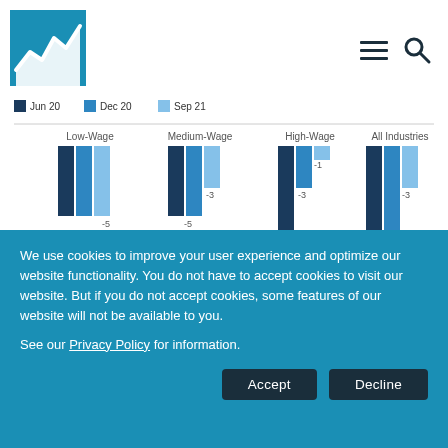[Figure (logo): Blue square logo with white area chart line]
[Figure (grouped-bar-chart): ]
We use cookies to improve your user experience and optimize our website functionality. You do not have to accept cookies to visit our website. But if you do not accept cookies, some features of our website will not be available to you.
See our Privacy Policy for information.